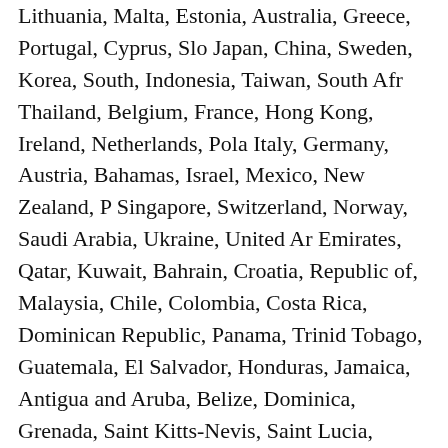Lithuania, Malta, Estonia, Australia, Greece, Portugal, Cyprus, Slo Japan, China, Sweden, Korea, South, Indonesia, Taiwan, South Afr Thailand, Belgium, France, Hong Kong, Ireland, Netherlands, Pola Italy, Germany, Austria, Bahamas, Israel, Mexico, New Zealand, P Singapore, Switzerland, Norway, Saudi Arabia, Ukraine, United Ar Emirates, Qatar, Kuwait, Bahrain, Croatia, Republic of, Malaysia, Chile, Colombia, Costa Rica, Dominican Republic, Panama, Trinid Tobago, Guatemala, El Salvador, Honduras, Jamaica, Antigua and Aruba, Belize, Dominica, Grenada, Saint Kitts-Nevis, Saint Lucia, Montserrat, Turks and Caicos Islands, Barbados, Bangladesh, Bern Brunei Darussalam, Bolivia, Ecuador, Egypt, French Guiana, Guer Gibraltar, Guadeloupe, Iceland, Jersey, Jordan, Cambodia, Caymar Liechtenstein, Sri Lanka, Luxembourg, Monaco, Macau, Martinique Maldives, Nicaragua, Oman, Peru, Pakistan, Paraguay, Reunion, V Uruguay, Russian Federation.
Product Type: Clothing & Accessories
Character Family: Gone with the Wind
Doll Size: 16in.
Type: Doll Clothes & Accessories